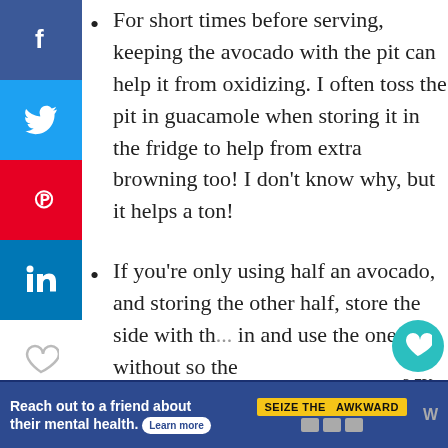For short times before serving, keeping the avocado with the pit can help it from oxidizing. I often toss the pit in guacamole when storing it in the fridge to help from extra browning too! I don't know why, but it helps a ton!
If you're only using half an avocado, and storing the other half, store the side with th... in and use the one without so the
[Figure (infographic): What's Next panel showing Low Carb Taco Salad with thumbnail image]
[Figure (infographic): Advertisement banner: Reach out to a friend about their mental health. Learn more. Seize The Awkward.]